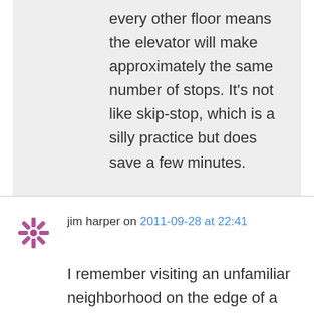every other floor means the elevator will make approximately the same number of stops. It's not like skip-stop, which is a silly practice but does save a few minutes.
jim harper on 2011-09-28 at 22:41
I remember visiting an unfamiliar neighborhood on the edge of a large western sunbelt city, in 1997. The building stock was only about 20